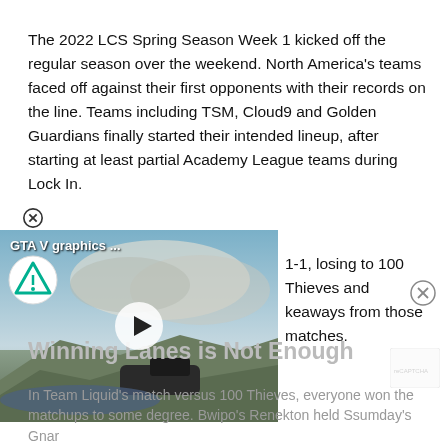The 2022 LCS Spring Season Week 1 kicked off the regular season over the weekend. North America's teams faced off against their first opponents with their records on the line. Teams including TSM, Cloud9 and Golden Guardians finally started their intended lineup, after starting at least partial Academy League teams during Lock In. [video overlay] 1-1, losing to 100 Thieves and keaways from those matches.
[Figure (screenshot): Video thumbnail showing GTA V graphics scene with landscape. Title reads 'GTA V graphics ...' with a play button overlay.]
Winning Lanes is Not Enough
In Team Liquid's match versus 100 Thieves, everyone won the matchups to some degree. Bwipo's Renekton held Ssumday's Gnar...